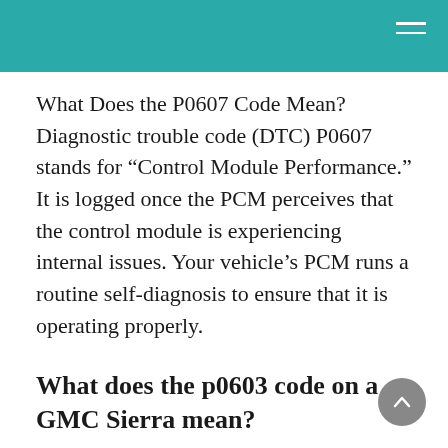What Does the P0607 Code Mean? Diagnostic trouble code (DTC) P0607 stands for “Control Module Performance.” It is logged once the PCM perceives that the control module is experiencing internal issues. Your vehicle’s PCM runs a routine self-diagnosis to ensure that it is operating properly.
What does the p0603 code on a GMC Sierra mean?
What is the P0603 Code? The P0603 code